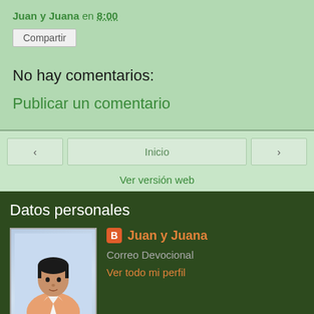Juan y Juana en 8:00
Compartir
No hay comentarios:
Publicar un comentario
‹
Inicio
›
Ver versión web
Datos personales
[Figure (illustration): Profile illustration of a man in an orange/salmon blazer with light blue background]
Juan y Juana
Correo Devocional
Ver todo mi perfil
Con la tecnología de Blogger.